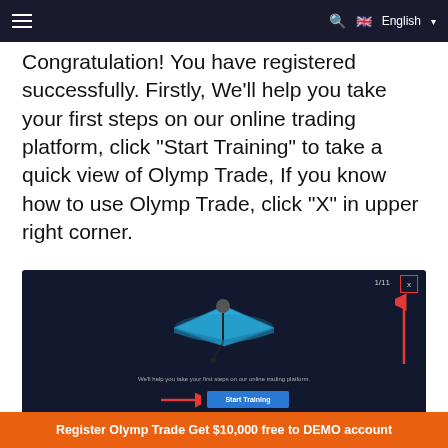≡   🔍  🇬🇧 English ▾
Congratulation! You have registered successfully. Firstly, We'll help you take your first steps on our online trading platform, click "Start Training" to take a quick view of Olymp Trade, If you know how to use Olymp Trade, click "X" in upper right corner.
[Figure (screenshot): Screenshot of Olymp Trade platform onboarding screen showing a 3D blue graduation cap icon, text 'We'll help you take your first steps on our online trading platform.', a blue 'Start Training' button, a red arrow pointing to the button, a '1/11' counter in the top right, a red-bordered X close button in the top right corner with a red upward arrow annotation pointing to it.]
Register Olymp Trade Get $10,000 free to DEMO account